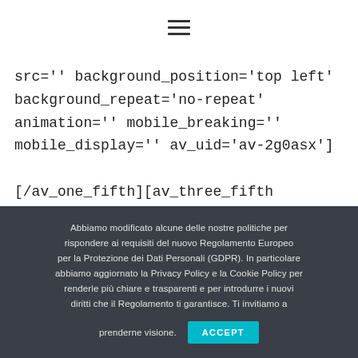≡
src='' background_position='top left' background_repeat='no-repeat' animation='' mobile_breaking='' mobile_display='' av_uid='av-2g0asx']

[/av_one_fifth][av_three_fifth min_height='' vertical_alignment='av-align-top' space=''
Abbiamo modificato alcune delle nostre politiche per rispondere ai requisiti del nuovo Regolamento Europeo per la Protezione dei Dati Personali (GDPR). In particolare abbiamo aggiornato la Privacy Policy e la Cookie Policy per renderle più chiare e trasparenti e per introdurre i nuovi diritti che il Regolamento ti garantisce. Ti invitiamo a prenderne visione.
ACCEPT